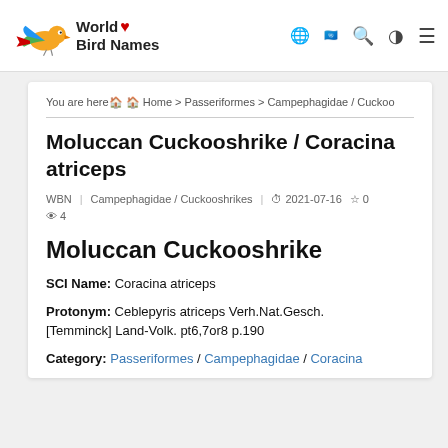World Bird Names — navigation header with logo and icons
You are here🏠 Home > Passeriformes > Campephagidae / Cuckoo
Moluccan Cuckooshrike / Coracina atriceps
WBN   Campephagidae / Cuckooshrikes   2021-07-16   ☆ 0   👁 4
Moluccan Cuckooshrike
SCI Name: Coracina atriceps
Protonym: Ceblepyris atriceps Verh.Nat.Gesch. [Temminck] Land-Volk. pt6,7or8 p.190
Category: Passeriformes / Campephagidae / Coracina